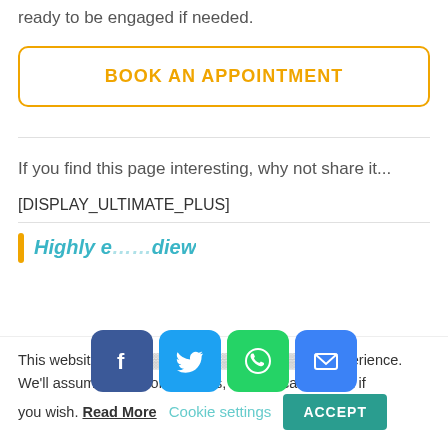ready to be engaged if needed.
BOOK AN APPOINTMENT
If you find this page interesting, why not share it...
[DISPLAY_ULTIMATE_PLUS]
[Figure (other): Social sharing icons: Facebook (blue), Twitter (light blue), WhatsApp (green), Email (blue)]
Highly ... diew
This website use ... your experience. We'll assume you're ok with this, but you can opt-out if you wish. Read More   Cookie settings   ACCEPT